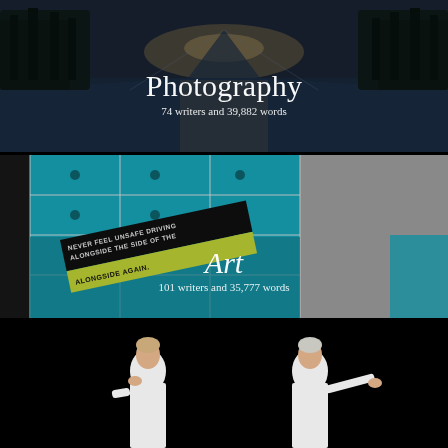[Figure (photo): Dark canal or river at dusk with trees on both sides, reflections in water, with overlaid text 'Photography' and '74 writers and 39,882 words']
[Figure (photo): Teal/cyan icon grid wall display with various symbols and icons, a road safety sign visible (NEVER FEEL UNSAFE DRIVING ALONGSIDE THE SIDE OF THE AGAIN.), with overlaid text 'Art' and '101 writers and 35,777 words']
[Figure (photo): Two people in white shirts on black background, one on left appearing to think/gesture, one on right gesturing outward]